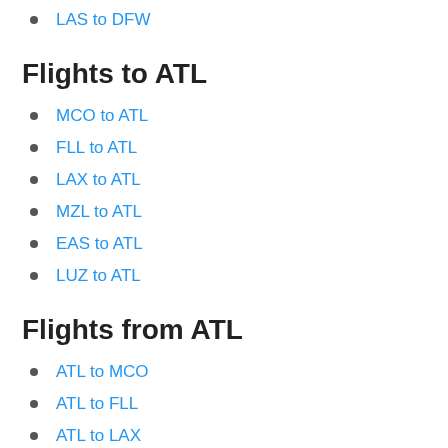LAX to EWR
ORD to LAX
LAS to DFW
Flights to ATL
MCO to ATL
FLL to ATL
LAX to ATL
MZL to ATL
EAS to ATL
LUZ to ATL
Flights from ATL
ATL to MCO
ATL to FLL
ATL to LAX
ATL to SZG